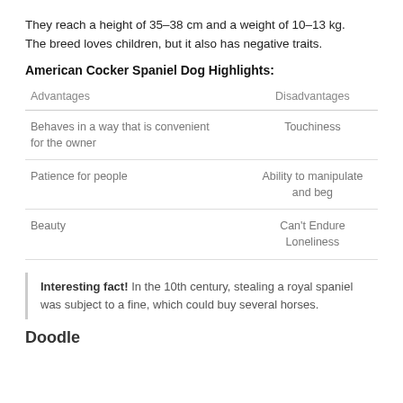They reach a height of 35–38 cm and a weight of 10–13 kg. The breed loves children, but it also has negative traits.
American Cocker Spaniel Dog Highlights:
| Advantages | Disadvantages |
| --- | --- |
| Behaves in a way that is convenient for the owner | Touchiness |
| Patience for people | Ability to manipulate and beg |
| Beauty | Can't Endure Loneliness |
Interesting fact! In the 10th century, stealing a royal spaniel was subject to a fine, which could buy several horses.
Doodle